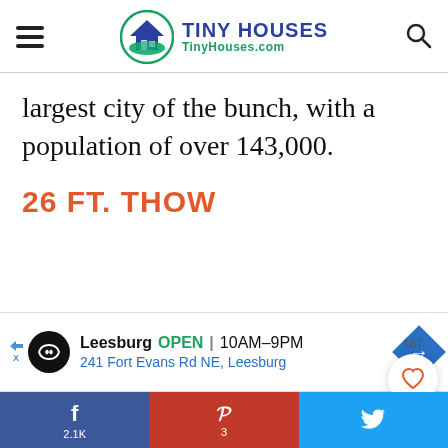TINY HOUSES TinyHouses.com
largest city of the bunch, with a population of over 143,000.
26 FT. THOW
[Figure (infographic): Like/heart button with count 167 and orange search button]
[Figure (infographic): Advertisement banner: Leesburg OPEN 10AM-9PM, 241 Fort Evans Rd NE, Leesburg]
f 2.1K   p 3   t (Twitter share)